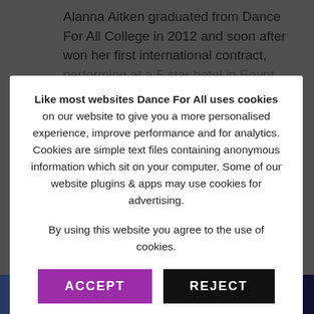Alanna Aitken graduated from Dance For All College in 2012 and soon after won her first international contract, performing at a 5 star hotel in Egypt.
Like most websites Dance For All uses cookies on our website to give you a more personalised experience, improve performance and for analytics. Cookies are simple text files containing anonymous information which sit on your computer. Some of our website plugins & apps may use cookies for advertising.

By using this website you agree to the use of cookies.
ACCEPT
REJECT
Find out more - read our Privacy, Cookies & Data Policies
Winter Dance Intensive